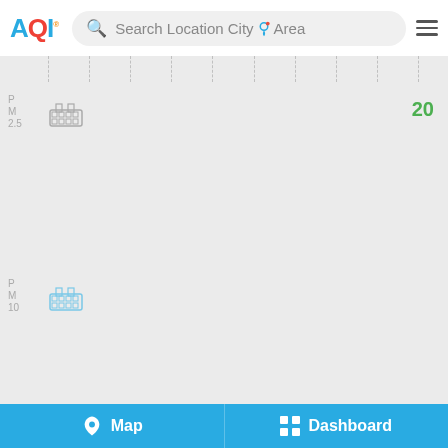[Figure (screenshot): AQI app header with logo, search bar reading 'Search Location City Area', and hamburger menu]
P
M
2.5
20
P
M
10
N
Map
Dashboard